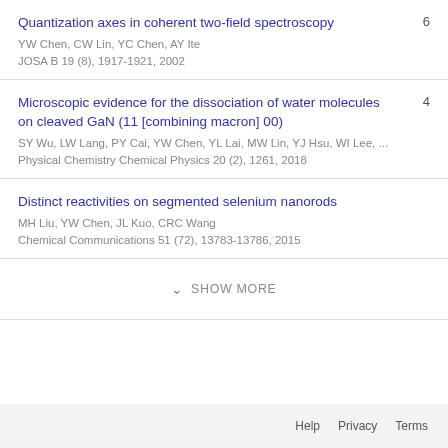Quantization axes in coherent two-field spectroscopy
YW Chen, CW Lin, YC Chen, AY Ite
JOSA B 19 (8), 1917-1921, 2002
Microscopic evidence for the dissociation of water molecules on cleaved GaN (11 [combining macron] 00)
SY Wu, LW Lang, PY Cai, YW Chen, YL Lai, MW Lin, YJ Hsu, WI Lee, ...
Physical Chemistry Chemical Physics 20 (2), 1261, 2018
Distinct reactivities on segmented selenium nanorods
MH Liu, YW Chen, JL Kuo, CRC Wang
Chemical Communications 51 (72), 13783-13786, 2015
SHOW MORE
Help   Privacy   Terms